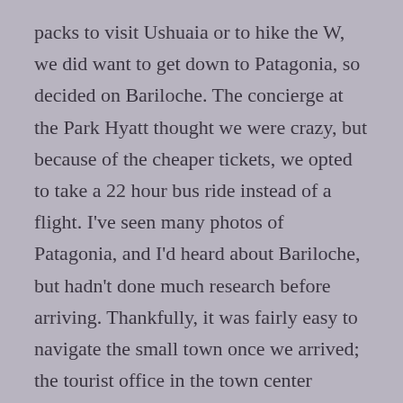packs to visit Ushuaia or to hike the W, we did want to get down to Patagonia, so decided on Bariloche. The concierge at the Park Hyatt thought we were crazy, but because of the cheaper tickets, we opted to take a 22 hour bus ride instead of a flight. I've seen many photos of Patagonia, and I'd heard about Bariloche, but hadn't done much research before arriving. Thankfully, it was fairly easy to navigate the small town once we arrived; the tourist office in the town center helped us pick a couple of hikes, including Refugio Frey and Parque Municipal Llao Llao. We also took a chair lift called Cerro Otto to a restaurant that gave us an aerial view of Bariloche.